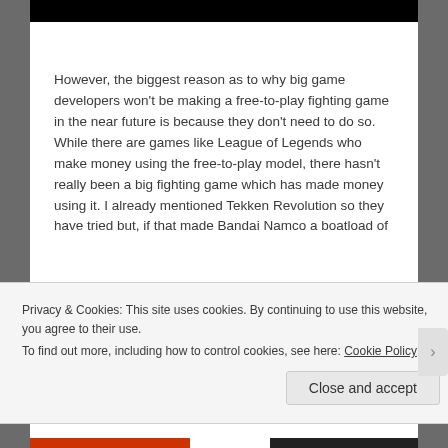[Figure (photo): Black image strip at the top of the page]
However, the biggest reason as to why big game developers won't be making a free-to-play fighting game in the near future is because they don't need to do so. While there are games like League of Legends who make money using the free-to-play model, there hasn't really been a big fighting game which has made money using it. I already mentioned Tekken Revolution so they have tried but, if that made Bandai Namco a boatload of
Privacy & Cookies: This site uses cookies. By continuing to use this website, you agree to their use.
To find out more, including how to control cookies, see here: Cookie Policy
Close and accept